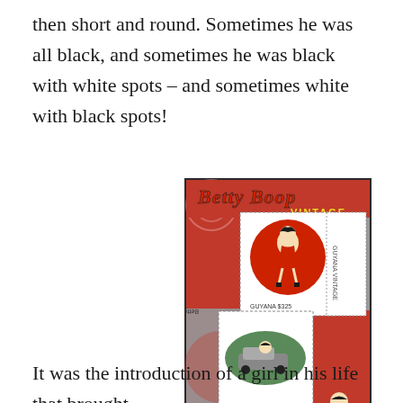then short and round. Sometimes he was all black, and sometimes he was black with white spots – and sometimes white with black spots!
[Figure (illustration): A Betty Boop Vintage postage stamp souvenir sheet from Guyana #3943, featuring the 1938 cartoon 'Riding the Rails'. The sheet shows Betty Boop character imagery on a red and blue-grey background with decorative circular patterns, with two stamps visible showing Betty Boop poses.]
Guyana #3943 – The 1938 cartoon "Riding the Rails" was nominated for an Oscar.
It was the introduction of a girl in his life that brought